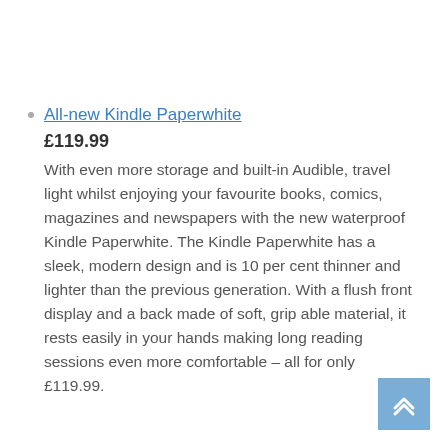All-new Kindle Paperwhite
£119.99
With even more storage and built-in Audible, travel light whilst enjoying your favourite books, comics, magazines and newspapers with the new waterproof Kindle Paperwhite. The Kindle Paperwhite has a sleek, modern design and is 10 per cent thinner and lighter than the previous generation. With a flush front display and a back made of soft, grip able material, it rests easily in your hands making long reading sessions even more comfortable – all for only £119.99.